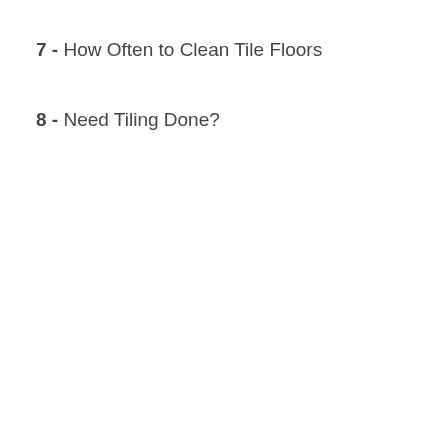7 - How Often to Clean Tile Floors
8 - Need Tiling Done?